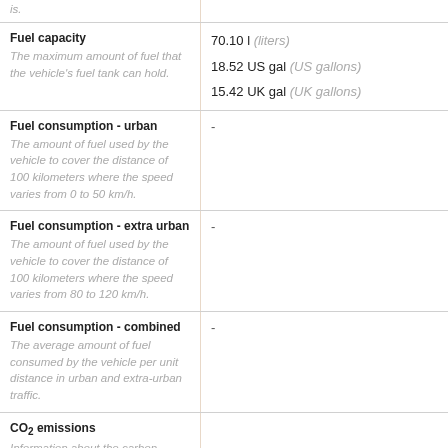| Property | Value |
| --- | --- |
| is. |  |
| Fuel capacity
The maximum amount of fuel that the vehicle's fuel tank can hold. | 70.10 l (liters)
18.52 US gal (US gallons)
15.42 UK gal (UK gallons) |
| Fuel consumption - urban
The amount of fuel used by the vehicle to cover the distance of 100 kilometers where the speed varies from 0 to 50 km/h. | - |
| Fuel consumption - extra urban
The amount of fuel used by the vehicle to cover the distance of 100 kilometers where the speed varies from 80 to 120 km/h. | - |
| Fuel consumption - combined
The average amount of fuel consumed by the vehicle per unit distance in urban and extra-urban traffic. | - |
| CO₂ emissions
Information about the carbon dioxide emitted by |  |